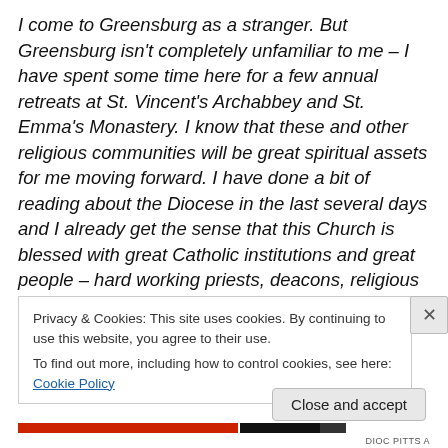I come to Greensburg as a stranger. But Greensburg isn't completely unfamiliar to me – I have spent some time here for a few annual retreats at St. Vincent's Archabbey and St. Emma's Monastery. I know that these and other religious communities will be great spiritual assets for me moving forward. I have done a bit of reading about the Diocese in the last several days and I already get the sense that this Church is blessed with great Catholic institutions and great people – hard working priests, deacons, religious men and women, and laity who are generous in every way possible.
Privacy & Cookies: This site uses cookies. By continuing to use this website, you agree to their use.
To find out more, including how to control cookies, see here: Cookie Policy
Close and accept